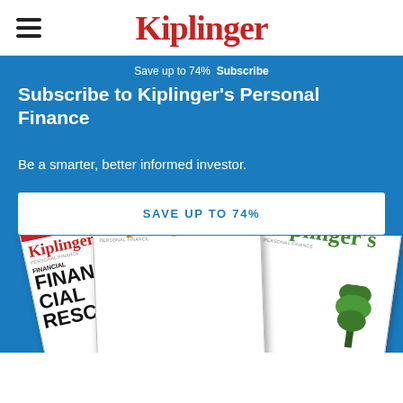Kiplinger
Save up to 74%  Subscribe
Subscribe to Kiplinger's Personal Finance
Be a smarter, better informed investor.
SAVE UP TO 74%
[Figure (illustration): Three overlapping Kiplinger's Personal Finance magazine covers fanned out: left cover shows red masthead with 'FINANCIAL RESCUE' text, center cover shows gold/yellow masthead title, right cover shows green masthead with tree illustration]